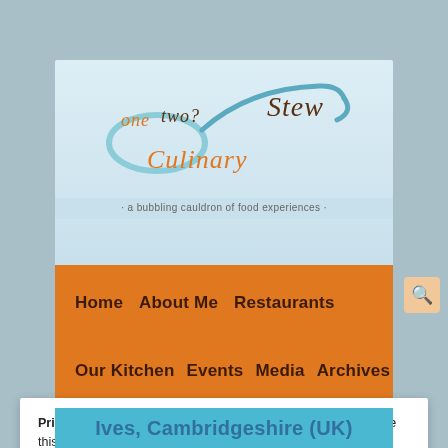[Figure (logo): One Two Culinary Stew logo with a ladle/spoon illustration and script text]
· a bubbling cauldron of food experiences ·
Home   About Me   Restaurants
Our Kitchen   Events   Media   Archives
Contact
Privacy & Cookies: This site uses cookies. By continuing to use this website, you agree to their use.
To find out more, including how to control cookies, see here: Cookie Policy
Close and accept
Ives, Cambridgeshire (UK)